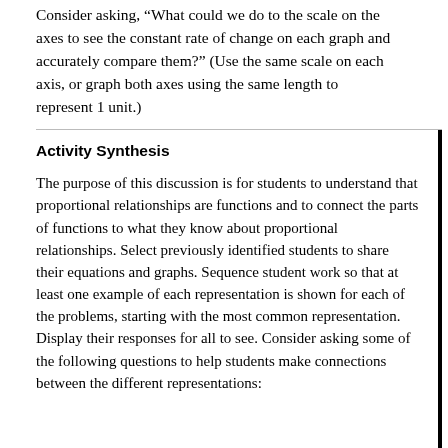Consider asking, “What could we do to the scale on the axes to see the constant rate of change on each graph and accurately compare them?” (Use the same scale on each axis, or graph both axes using the same length to represent 1 unit.)
Activity Synthesis
The purpose of this discussion is for students to understand that proportional relationships are functions and to connect the parts of functions to what they know about proportional relationships. Select previously identified students to share their equations and graphs. Sequence student work so that at least one example of each representation is shown for each of the problems, starting with the most common representation. Display their responses for all to see. Consider asking some of the following questions to help students make connections between the different representations:
“For the first problem, if we wanted to know how many…